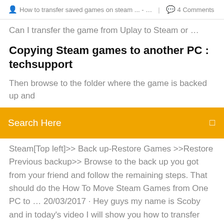How to transfer saved games on steam ... - … | 4 Comments
Can I transfer the game from Uplay to Steam or …
Copying Steam games to another PC : techsupport
Then browse to the folder where the game is backed up and
Search Here
Steam[Top left]>> Back up-Restore Games >>Restore Previous backup>> Browse to the back up you got from your friend and follow the remaining steps. That should do the How To Move Steam Games from One PC to … 20/03/2017 · Hey guys my name is Scoby and in today's video I will show you how to transfer your steam games from one PC to another! To do this you will need an external hard drive or memory stick to hold your Moving a Steam Installation and Games - General … Move the SteamApps folder into the new Steam installation folder to copy all of your downloaded game content, settings, and saved